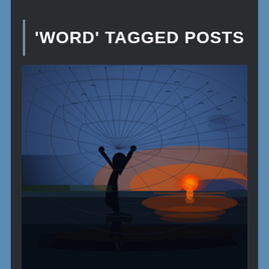'WORD' TAGGED POSTS
[Figure (photo): Silhouette of a fisherman on a boat casting a large circular net over a lake at sunset/dusk. The net fans out above the fisherman in a circular pattern. The sky shows blues and purples with some clouds, and the sun is setting on the horizon creating a warm orange-red glow reflected on the water.]